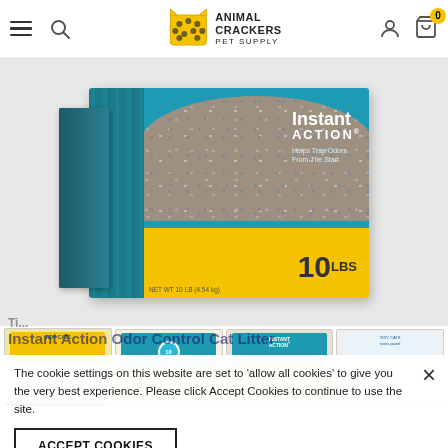Animal Crackers Pet Supply — navigation header with hamburger menu, search, logo, account, cart (0)
[Figure (photo): Purina Tidy Cats Instant Action 10 lbs cat litter box — main product image with teal and yellow packaging showing gravel cat litter and '10 LBS' text]
[Figure (photo): Thumbnail 1: Tidy Cats bag yellow packaging]
[Figure (photo): Thumbnail 2: Tidy Cats box side view with 10-count circle badge]
[Figure (photo): Thumbnail 3: Instant Action front label on yellow/teal background]
[Figure (photo): Thumbnail 4: Tidy Cats product details panel with icons]
The cookie settings on this website are set to 'allow all cookies' to give you the very best experience. Please click Accept Cookies to continue to use the site.
ACCEPT COOKIES
Instant Action Odor Control Cat Litter
10 sold in last | sold in last 20 hours | hours
Availability: